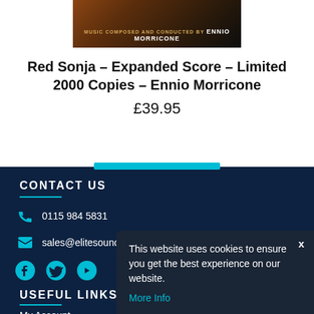[Figure (photo): Album cover for Red Sonja – Expanded Score by Ennio Morricone. Dark fantasy artwork with text 'MUSIC COMPOSED AND CONDUCTED BY ENNIO MORRICONE']
Red Sonja – Expanded Score – Limited 2000 Copies – Ennio Morricone
£39.95
CONTACT US
0115 984 5831
sales@elitesoundtracks.com
USEFUL LINKS
My Account
This website uses cookies to ensure you get the best experience on our website. More Info